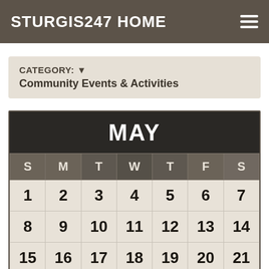STURGIS247 HOME
CATEGORY: ▼
Community Events & Activities
| S | M | T | W | T | F | S |
| --- | --- | --- | --- | --- | --- | --- |
| 1 | 2 | 3 | 4 | 5 | 6 | 7 |
| 8 | 9 | 10 | 11 | 12 | 13 | 14 |
| 15 | 16 | 17 | 18 | 19 | 20 | 21 |